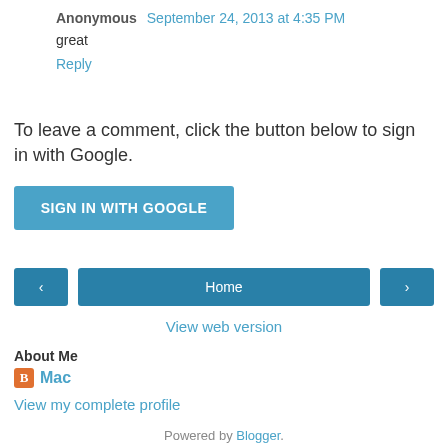Anonymous  September 24, 2013 at 4:35 PM
great
Reply
To leave a comment, click the button below to sign in with Google.
SIGN IN WITH GOOGLE
< Home >
View web version
About Me
Mac
View my complete profile
Powered by Blogger.